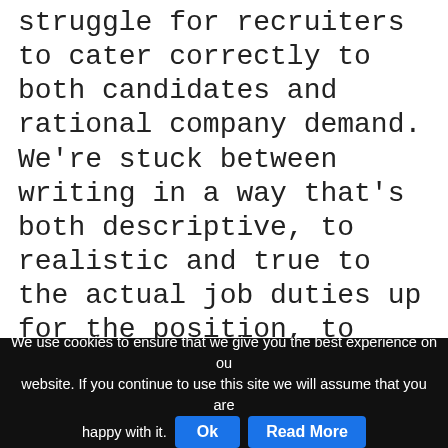struggle for recruiters to cater correctly to both candidates and rational company demand. We're stuck between writing in a way that's both descriptive, to realistic and true to the actual job duties up for the position, to being searchable to candidates we wish to attract. Now we're adding AI in the mix which further complicates how we're writing and tailoring our messaging to capture quality candidates.
We use cookies to ensure that we give you the best experience on our website. If you continue to use this site we will assume that you are happy with it. Ok Read More